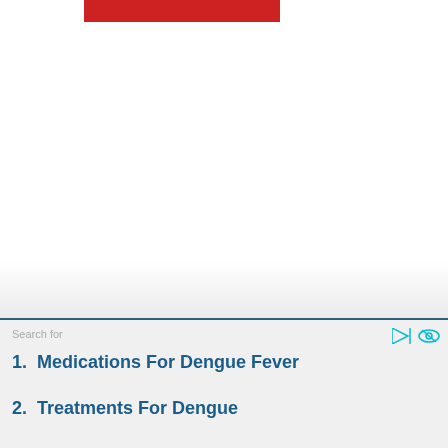[Figure (other): Red rectangular banner/bar at the top of a webpage screenshot, with large white content area below]
Search for
1.  Medications For Dengue Fever
2.  Treatments For Dengue